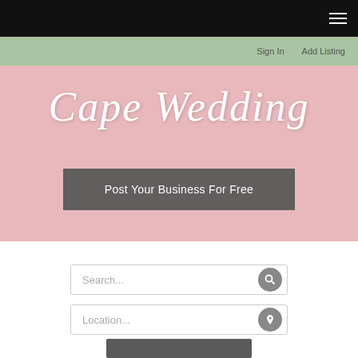☰ (hamburger menu)
Sign In   Add Listing
Cape Wedding
Post Your Business For Free
Search...
Location...